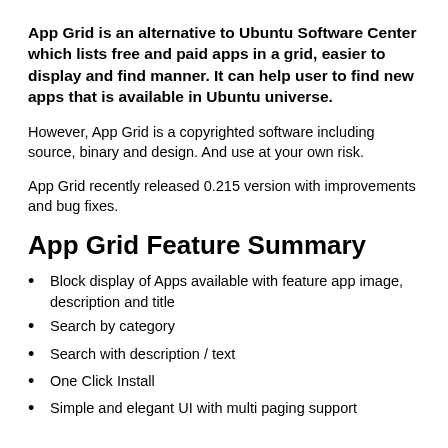App Grid is an alternative to Ubuntu Software Center which lists free and paid apps in a grid, easier to display and find manner. It can help user to find new apps that is available in Ubuntu universe.
However, App Grid is a copyrighted software including source, binary and design. And use at your own risk.
App Grid recently released 0.215 version with improvements and bug fixes.
App Grid Feature Summary
Block display of Apps available with feature app image, description and title
Search by category
Search with description / text
One Click Install
Simple and elegant UI with multi paging support